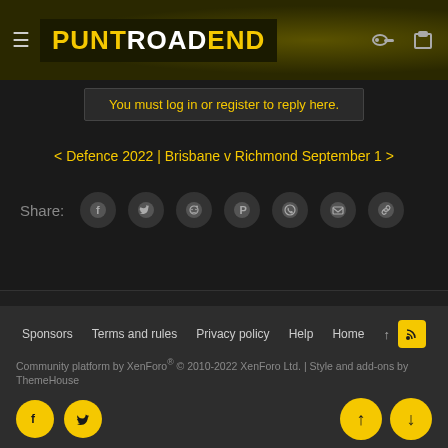PUNTROADEND
You must log in or register to reply here.
< Defence 2022 | Brisbane v Richmond September 1 >
Share:
< DYER-TRIBE
Sponsors  Terms and rules  Privacy policy  Help  Home
Community platform by XenForo® © 2010-2022 XenForo Ltd. | Style and add-ons by ThemeHouse